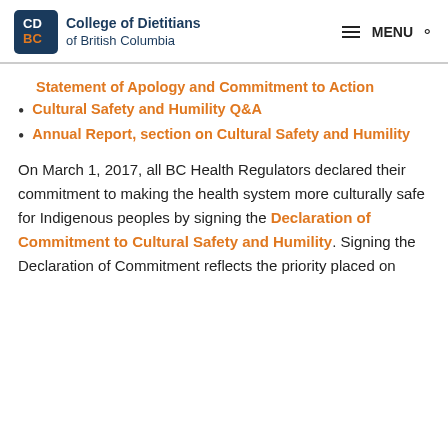College of Dietitians of British Columbia | MENU
Statement of Apology and Commitment to Action
Cultural Safety and Humility Q&A
Annual Report, section on Cultural Safety and Humility
On March 1, 2017, all BC Health Regulators declared their commitment to making the health system more culturally safe for Indigenous peoples by signing the Declaration of Commitment to Cultural Safety and Humility. Signing the Declaration of Commitment reflects the priority placed on